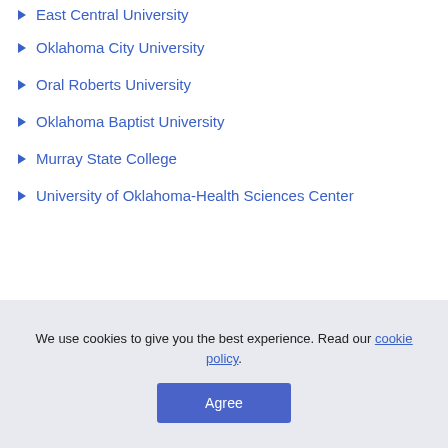East Central University
Oklahoma City University
Oral Roberts University
Oklahoma Baptist University
Murray State College
University of Oklahoma-Health Sciences Center
COMPARE SCHOOLS
We use cookies to give you the best experience. Read our cookie policy.